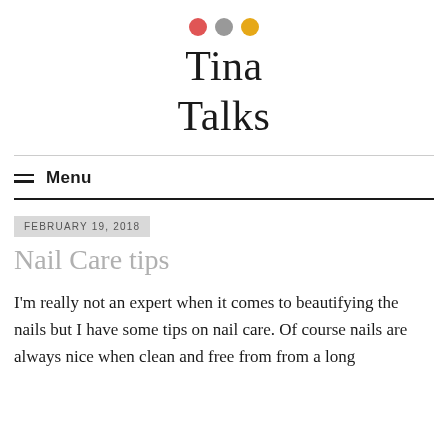[Figure (logo): Three colored dots (red, gray, yellow) above the blog title 'Tina Talks']
Tina Talks
≡ Menu
FEBRUARY 19, 2018
Nail Care tips
I'm really not an expert when it comes to beautifying the nails but I have some tips on nail care. Of course nails are always nice when clean and free from from a long...